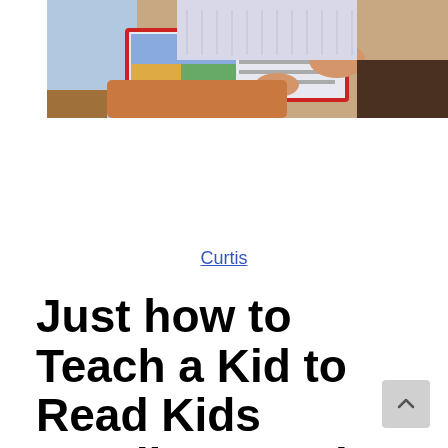[Figure (photo): Child sitting and reading a colorful picture book, wearing a light knit sweater, holding the book open with both hands]
Curtis
Just how to Teach a Kid to Read Kids Reading Level Books